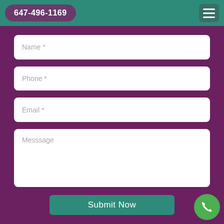647-496-1169
Name *
Phone *
Email *
Messsage
Submit Now